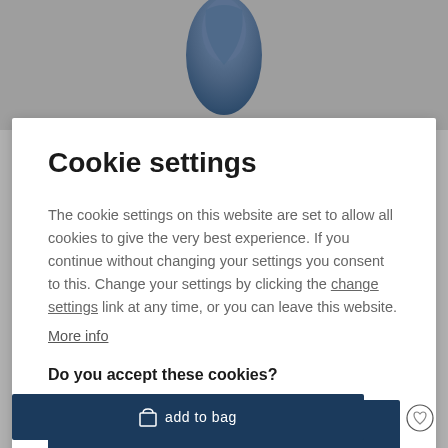[Figure (photo): Blurred gray background with a blue denim/fabric item partially visible at top]
Cookie settings
The cookie settings on this website are set to allow all cookies to give the very best experience. If you continue without changing your settings you consent to this. Change your settings by clicking the change settings link at any time, or you can leave this website.
More info
Do you accept these cookies?
yes
[Figure (screenshot): Add to bag button at the bottom with a shopping bag icon and heart/wishlist icon]